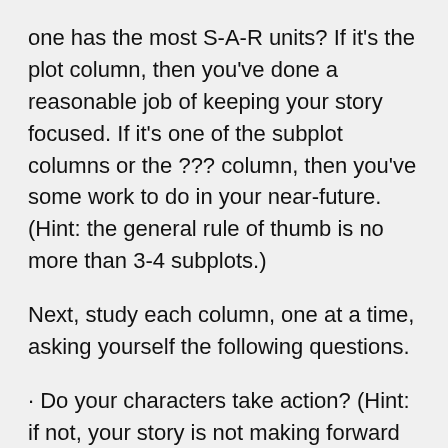one has the most S-A-R units? If it's the plot column, then you've done a reasonable job of keeping your story focused. If it's one of the subplot columns or the ??? column, then you've some work to do in your near-future. (Hint: the general rule of thumb is no more than 3-4 subplots.)
Next, study each column, one at a time, asking yourself the following questions.
· Do your characters take action? (Hint: if not, your story is not making forward motion.)
· the conversation that least taken place off